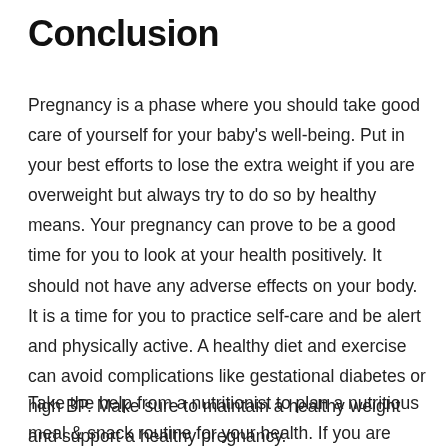Conclusion
Pregnancy is a phase where you should take good care of yourself for your baby’s well-being. Put in your best efforts to lose the extra weight if you are overweight but always try to do so by healthy means. Your pregnancy can prove to be a good time for you to look at your health positively. It should not have any adverse effects on your body. It is a time for you to practice self-care and be alert and physically active. A healthy diet and exercise can avoid complications like gestational diabetes or high BP. Make sure to maintain a healthy weight and support a healthy pregnancy.
Take the help from a nutritionist to plan a nutritious meal & snack routine for your health. If you are worried about your